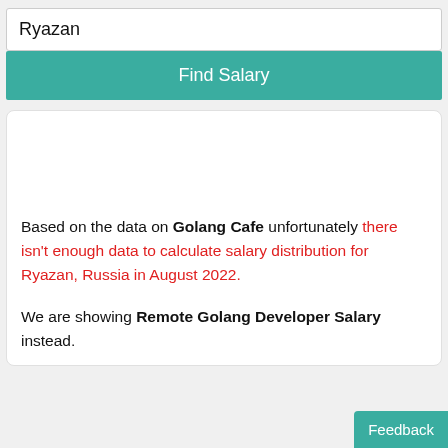Ryazan
Find Salary
Based on the data on Golang Cafe unfortunately there isn't enough data to calculate salary distribution for Ryazan, Russia in August 2022.
We are showing Remote Golang Developer Salary instead.
Feedback